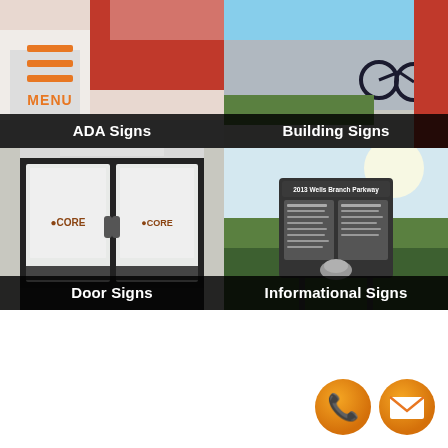[Figure (screenshot): Mobile website screenshot showing 4 sign category tiles in a 2x2 grid: ADA Signs (top-left with photo of sign near red wall), Building Signs (top-right with photo of bikes and building), Door Signs (bottom-left with glass frosted double doors with CORE logo), Informational Signs (bottom-right with outdoor directory sign '2013 Wells Branch Parkway'). Menu hamburger icon top-left. Phone and email contact icons bottom-right.]